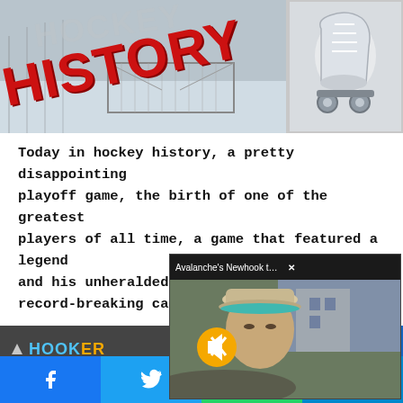[Figure (photo): Hockey history banner image showing a hockey net/rink scene with large red 'HISTORY' text overlay and smaller grey 'HOCKEY' text. Right side shows a vintage roller skate image.]
Today in hockey history, a pretty disappointing playoff game, the birth of one of the greatest players of all time, a game that featured a legend and his unheralded record-breaking ca...
[Figure (screenshot): Video popup overlay titled 'Avalanche's Newhook thrilled to bring S...' with a mute button icon, showing an interview scene outdoors. Has an X close button.]
[Figure (logo): Dark grey bar with HOOK hockey logo text in blue]
Facebook | Twitter | WhatsApp | Telegram social share buttons